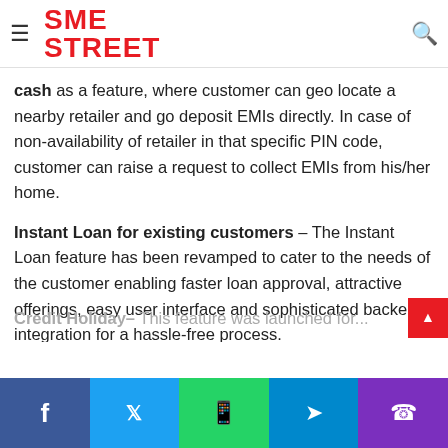SME STREET — navigation bar with hamburger menu and search icon
cash as a feature, where customer can geo locate a nearby retailer and go deposit EMIs directly. In case of non-availability of retailer in that specific PIN code, customer can raise a request to collect EMIs from his/her home.
Instant Loan for existing customers – The Instant Loan feature has been revamped to cater to the needs of the customer enabling faster loan approval, attractive offerings, easy user interface and sophisticated backend integration for a hassle-free process.
Credit Holiday – This feature...
Social share bar: Facebook, Twitter, WhatsApp, Telegram, Phone